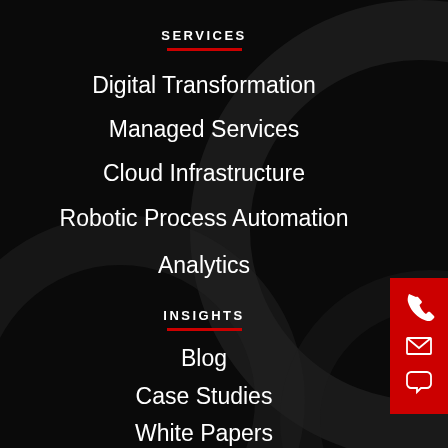SERVICES
Digital Transformation
Managed Services
Cloud Infrastructure
Robotic Process Automation
Analytics
INSIGHTS
Blog
Case Studies
White Papers
[Figure (infographic): Red contact sidebar with phone, email, and chat icons on the right edge of the page]